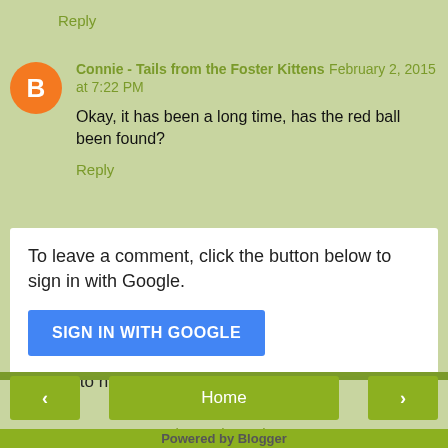Reply
Connie - Tails from the Foster Kittens  February 2, 2015 at 7:22 PM
Okay, it has been a long time, has the red ball been found?
Reply
To leave a comment, click the button below to sign in with Google.
SIGN IN WITH GOOGLE
We love to hear from you.....
< Home > View web version Powered by Blogger